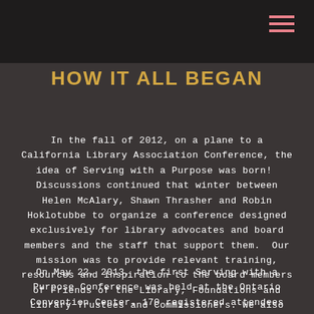[Figure (photo): Dark background photo of a person working, with plants visible on the left side.]
HOW IT ALL BEGAN
In the fall of 2012, on a plane to a California Library Association Conference, the idea of Serving with a Purpose was born! Discussions continued that winter between Helen McAlary, Shawn Thrasher and Robin Hoklotubbe to organize a conference designed exclusively for library advocates and board members and the staff that support them. Our mission was to provide relevant training, resources and inspiration to the board members of Friends of the Library, Foundations and Library Trustees and Commissioners. We also wanted to make sure that the conference would be fun too!
On May 22, 2013, the first Serving with a Purpose Conference was held at the Ontario Convention Center. 170 registered attendees